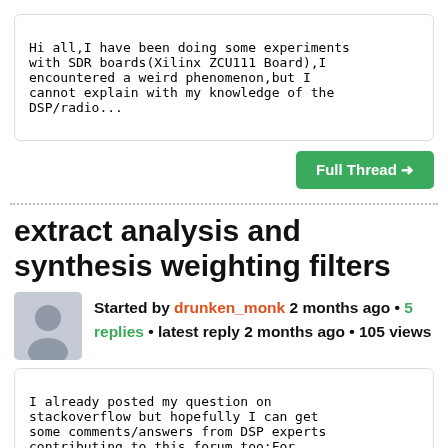Hi all,I have been doing some experiments with SDR boards(Xilinx ZCU111 Board),I encountered a weird phenomenon,but I cannot explain with my knowledge of the DSP/radio...
Full Thread →
extract analysis and synthesis weighting filters
Started by drunken_monk 2 months ago • 5 replies • latest reply 2 months ago • 105 views
I already posted my question on stackoverflow but hopefully I can get some comments/answers from DSP experts contributing to this forum too:For regular FIR filters...